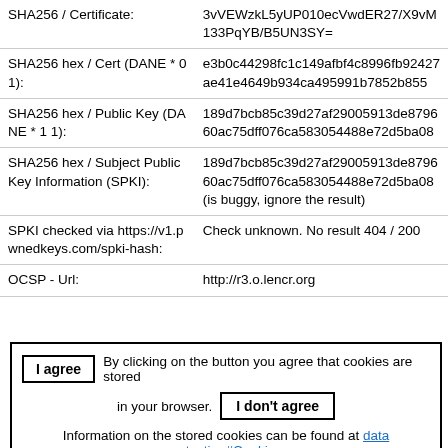| Field | Value |
| --- | --- |
| SHA256 / Certificate: | 3vVEWzkL5yUP010ecVwdER27/X9vM133PqYB/B5UN3SY= |
| SHA256 hex / Cert (DANE * 0 1): | e3b0c44298fc1c149afbf4c8996fb92427ae41e4649b934ca495991b7852b855 |
| SHA256 hex / Public Key (DANE * 1 1): | 189d7bcb85c39d27af29005913de879660ac75dff076ca583054488e72d5ba08 |
| SHA256 hex / Subject Public Key Information (SPKI): | 189d7bcb85c39d27af29005913de879660ac75dff076ca583054488e72d5ba08 (is buggy, ignore the result) |
| SPKI checked via https://v1.pwnedkeys.com/spki-hash: | Check unknown. No result 404 / 200 |
| OCSP - Url: | http://r3.o.lencr.org |
I agree  By clicking on the button you agree that cookies are stored in your browser.  I don't agree  Information on the stored cookies can be found at data protection#Cookies.